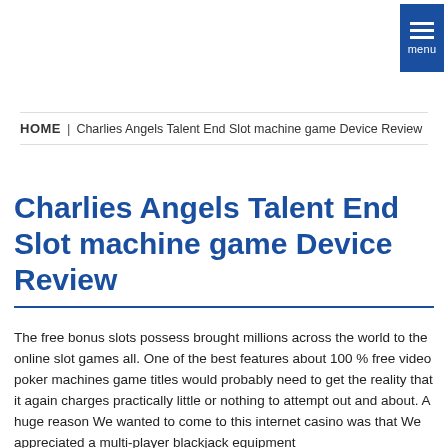[Figure (other): Blue menu button with three horizontal white lines and 'menu' label]
HOME | Charlies Angels Talent End Slot machine game Device Review
Charlies Angels Talent End Slot machine game Device Review
The free bonus slots possess brought millions across the world to the online slot games all. One of the best features about 100 % free video poker machines game titles would probably need to get the reality that it again charges practically little or nothing to attempt out and about. A huge reason We wanted to come to this internet casino was that We appreciated a multi-player blackjack equipment